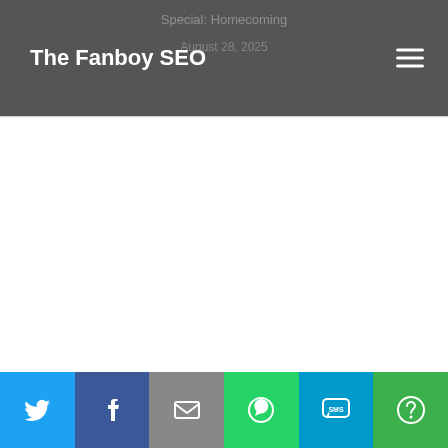The Fanboy SEO
Special: Homecoming · August 28, 2025
[Figure (screenshot): Empty white content area below navigation bar]
Social share bar with Twitter, Facebook, Email, WhatsApp, SMS, More buttons